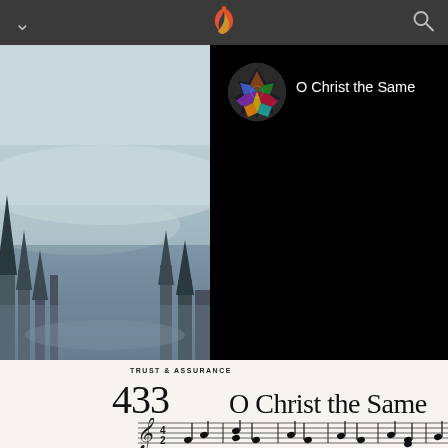Glory [app logo] navigation bar with chevron and search icon
[Figure (screenshot): Music app interface showing album art (circular stained glass image) and song title 'O Christ the Same' on black background panel, with winter landscape background on left]
TRUST & ASSURANCE
433   O Christ the Same
[Figure (music-notation): Opening bars of hymn 'O Christ the Same' in 4/2 time signature with treble clef, showing first few notes of the melody]